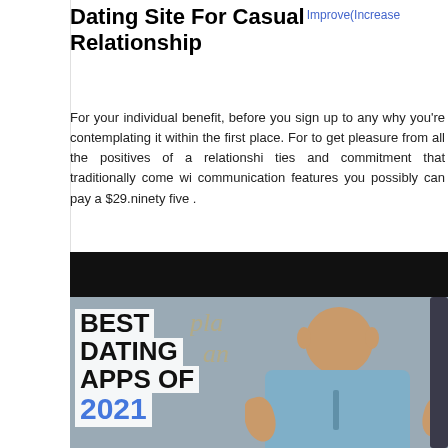Dating Site For Casual Relationship
Improve(Increase
For your individual benefit, before you sign up to any why you're contemplating it within the first place. For to get pleasure from all the positives of a relationshi ties and commitment that traditionally come wi communication features you possibly can pay a $29.ninety five .
[Figure (photo): Video thumbnail showing 'BEST DATING APPS OF 2021' text overlay with a man gesturing with his hands]